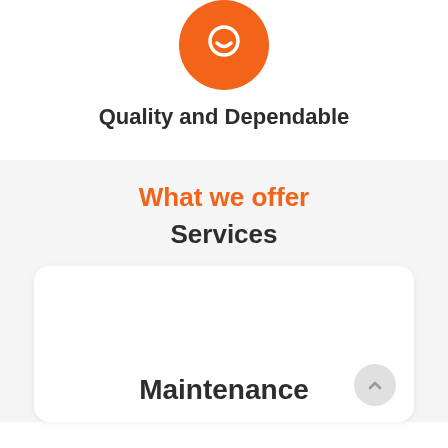[Figure (illustration): Orange circle icon with a white smiley/shield face symbol at top center]
Quality and Dependable
What we offer
Services
Maintenance